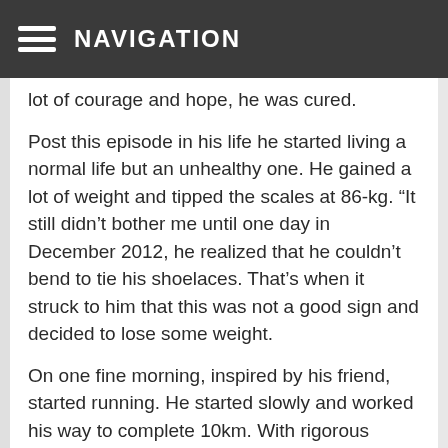NAVIGATION
lot of courage and hope, he was cured.
Post this episode in his life he started living a normal life but an unhealthy one. He gained a lot of weight and tipped the scales at 86-kg. “It still didn’t bother me until one day in December 2012, he realized that he couldn’t bend to tie his shoelaces. That’s when it struck to him that this was not a good sign and decided to lose some weight.
On one fine morning, inspired by his friend, started running. He started slowly and worked his way to complete 10km. With rigorous practice and right diet, his weight dropped from 86kg to 69kg. Since then he has been running marathons and